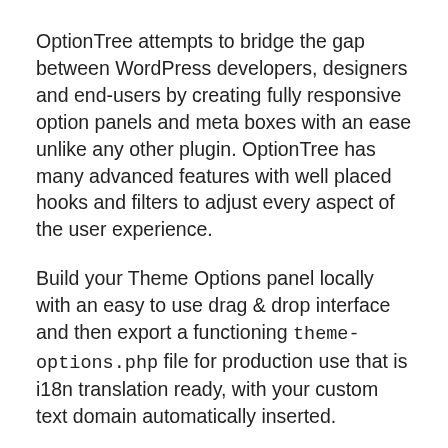OptionTree attempts to bridge the gap between WordPress developers, designers and end-users by creating fully responsive option panels and meta boxes with an ease unlike any other plugin. OptionTree has many advanced features with well placed hooks and filters to adjust every aspect of the user experience.
Build your Theme Options panel locally with an easy to use drag & drop interface and then export a functioning theme-options.php file for production use that is i18n translation ready, with your custom text domain automatically inserted.
And, in just a few simple lines of code, save settings to the database with a unique array ID so none of your Theme Options conflict with other themes that use OptionTree.
Also, OptionTree comes loaded with full advantage of the